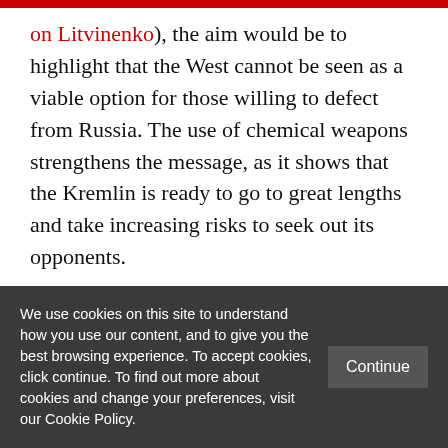on Litvinenko), the aim would be to highlight that the West cannot be seen as a viable option for those willing to defect from Russia. The use of chemical weapons strengthens the message, as it shows that the Kremlin is ready to go to great lengths and take increasing risks to seek out its opponents.

The attack came against the backdrop of the UK facing a crisis of legitimacy and identity in
We use cookies on this site to understand how you use our content, and to give you the best browsing experience. To accept cookies, click continue. To find out more about cookies and change your preferences, visit our Cookie Policy.